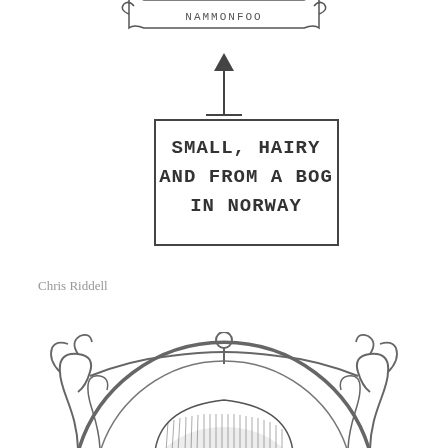[Figure (illustration): A hand-drawn illustration showing a scroll/banner at the top partially visible (cut off), with an upward arrow below it pointing to a rectangular box containing hand-lettered text reading 'SMALL, HAIRY AND FROM A BOG IN NORWAY'. Below the box is white space. At the bottom, an ornate circular mirror with decorative scrollwork frame, inside which a figure with dark hair is visible, seen from above.]
Chris Riddell
[Figure (illustration): Bottom portion of the page showing an ornate circular mirror with decorative scrollwork and curls at top and sides, containing the top view of a person with dark hair looking into the mirror.]